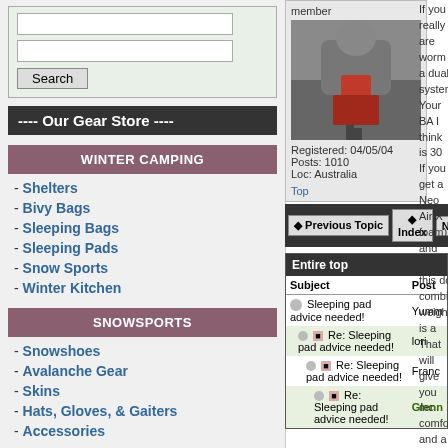Search box area
---- Our Gear Store ----
WINTER CAMPING
- Shelters
- Bivy Bags
- Sleeping Bags
- Sleeping Pads
- Snow Sports
- Winter Kitchen
SNOWSPORTS
- Snowshoes
- Avalanche Gear
- Skins
- Hats, Gloves, & Gaiters
- Accessories
ULTRA-LIGHT
member
[Figure (photo): Person hiking on rocky terrain]
Registered: 04/05/04
Posts: 1010
Loc: Australia
Top
If you really are worm a dual system. Your BA I think is 30 If you get a Neo Air X foam) and cut this do combined weight is a That will give you mc comfort and a back u my 3 season mat is a problems with that bu
| Subject | Post |
| --- | --- |
| Sleeping pad advice needed! | Yumm |
| Re: Sleeping pad advice needed! | lori |
| Re: Sleeping pad advice needed! | Franc |
| Re: Sleeping pad advice needed! | Glenn |